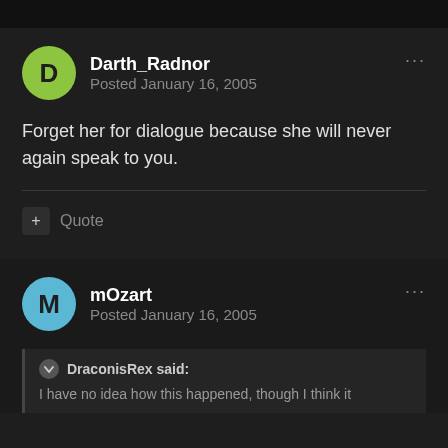Darth_Radnor
Posted January 16, 2005
Forget her for dialogue because she will never again speak to you.
Quote
mOzart
Posted January 16, 2005
DraconisRex said:
I have no idea how this happened, though I think it